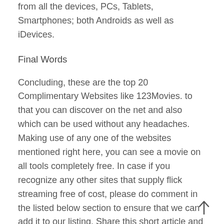from all the devices, PCs, Tablets, Smartphones; both Androids as well as iDevices.
Final Words
Concluding, these are the top 20 Complimentary Websites like 123Movies. to that you can discover on the net and also which can be used without any headaches. Making use of any one of the websites mentioned right here, you can see a movie on all tools completely free. In case if you recognize any other sites that supply flick streaming free of cost, please do comment in the listed below section to ensure that we can add it to our listing. Share this short article and also let individuals around you about the sites that can give the best type of leisure.